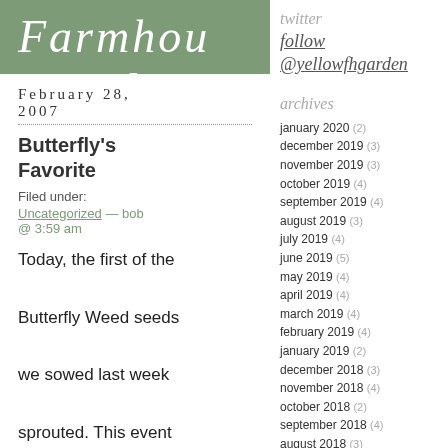The Yellow Farmhouse Garden
twitter
follow @yellowfhgarden
archives
january 2020 (2)
december 2019 (3)
november 2019 (3)
october 2019 (4)
september 2019 (4)
august 2019 (3)
july 2019 (4)
june 2019 (5)
may 2019 (4)
april 2019 (4)
march 2019 (4)
february 2019 (4)
january 2019 (2)
december 2018 (3)
november 2018 (4)
october 2018 (2)
september 2018 (4)
august 2018 (3)
july 2018 (5)
june 2018 (3)
may 2018 (3)
april 2018 (3)
march 2018 (3)
February 28, 2007
Butterfly's Favorite
Filed under:
Uncategorized — bob @ 3:59 am
Today, the first of the Butterfly Weed seeds we sowed last week sprouted. This event